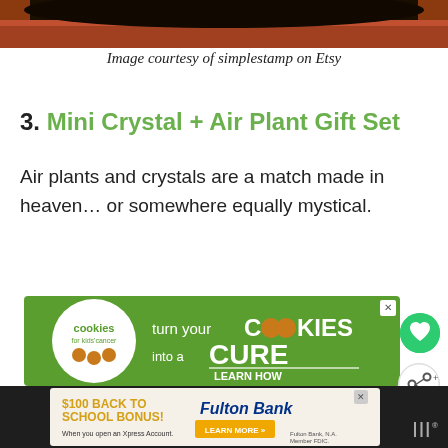[Figure (photo): Close-up photo of a terracotta pot rim with dark soil, cropped at top of page]
Image courtesy of simplestamp on Etsy
3. Mini Crystal + Air Plant Gift Set
Air plants and crystals are a match made in heaven… or somewhere equally mystical.
[Figure (infographic): Green advertisement banner: 'cookies for kids cancer — turn your COOKIES into a CURE LEARN HOW']
[Figure (infographic): Bank advertisement: '$100 BACK TO SCHOOL BONUS! When you open an Xpress Account. Fulton Bank. LEARN MORE »']